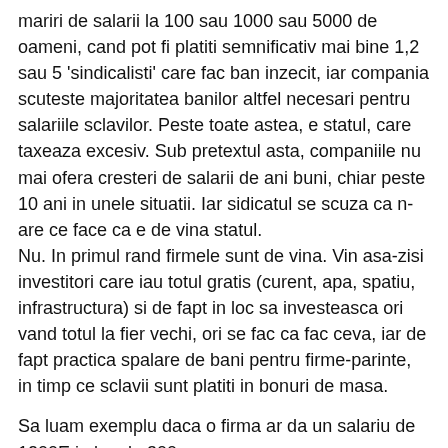mariri de salarii la 100 sau 1000 sau 5000 de oameni, cand pot fi platiti semnificativ mai bine 1,2 sau 5 'sindicalisti' care fac ban inzecit, iar compania scuteste majoritatea banilor altfel necesari pentru salariile sclavilor. Peste toate astea, e statul, care taxeaza excesiv. Sub pretextul asta, companiile nu mai ofera cresteri de salarii de ani buni, chiar peste 10 ani in unele situatii. Iar sidicatul se scuza ca n-are ce face ca e de vina statul.
Nu. In primul rand firmele sunt de vina. Vin asa-zisi investitori care iau totul gratis (curent, apa, spatiu, infrastructura) si de fapt in loc sa investeasca ori vand totul la fier vechi, ori se fac ca fac ceva, iar de fapt practica spalare de bani pentru firme-parinte, in timp ce sclavii sunt platiti in bonuri de masa.
Sa luam exemplu daca o firma ar da un salariu de 1200E in loc de 300.